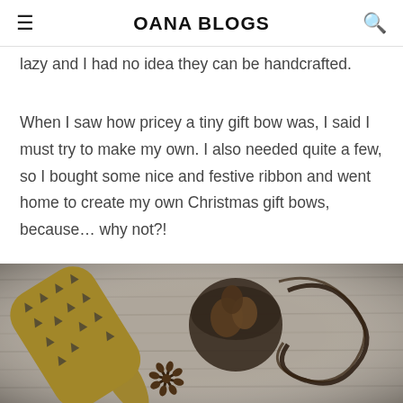OANA BLOGS
lazy and I had no idea they can be handcrafted.
When I saw how pricey a tiny gift bow was, I said I must try to make my own. I also needed quite a few, so I bought some nice and festive ribbon and went home to create my own Christmas gift bows, because… why not?!
[Figure (photo): Flat lay photo on a white wood surface showing a roll of Christmas wrapping paper with black tree pattern, a glass jar/bowl containing pinecones and a dark ribbon curled around it, star anise, and curling ribbon. Dark, moody festive styling.]